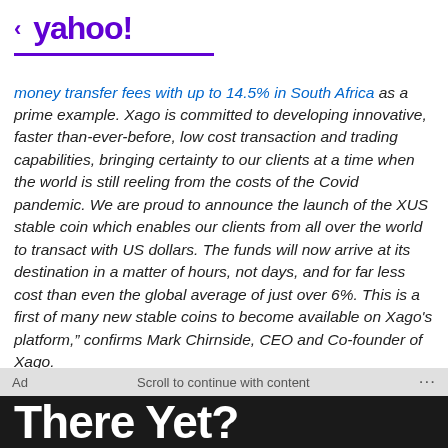< yahoo!
money transfer fees with up to 14.5% in South Africa as a prime example. Xago is committed to developing innovative, faster than-ever-before, low cost transaction and trading capabilities, bringing certainty to our clients at a time when the world is still reeling from the costs of the Covid pandemic. We are proud to announce the launch of the XUS stable coin which enables our clients from all over the world to transact with US dollars. The funds will now arrive at its destination in a matter of hours, not days, and for far less cost than even the global average of just over 6%. This is a first of many new stable coins to become available on Xago's platform," confirms Mark Chirnside, CEO and Co-founder of Xago.
Ad   Scroll to continue with content   ...
There Yet?